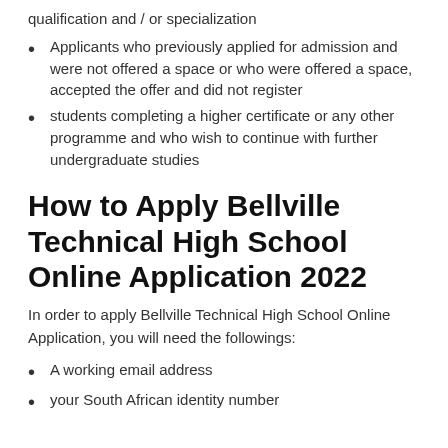qualification and / or specialization
Applicants who previously applied for admission and were not offered a space or who were offered a space, accepted the offer and did not register
students completing a higher certificate or any other programme and who wish to continue with further undergraduate studies
How to Apply Bellville Technical High School Online Application 2022
In order to apply Bellville Technical High School Online Application, you will need the followings:
A working email address
your South African identity number